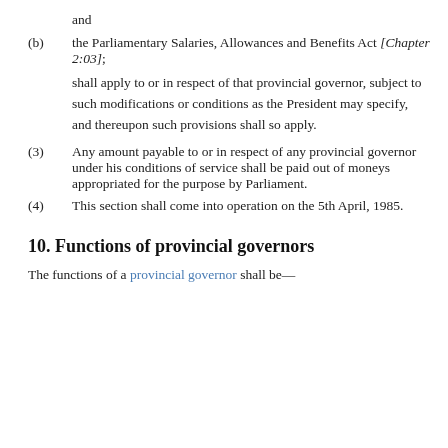and
(b)   the Parliamentary Salaries, Allowances and Benefits Act [Chapter 2:03];
shall apply to or in respect of that provincial governor, subject to such modifications or conditions as the President may specify, and thereupon such provisions shall so apply.
(3)   Any amount payable to or in respect of any provincial governor under his conditions of service shall be paid out of moneys appropriated for the purpose by Parliament.
(4)   This section shall come into operation on the 5th April, 1985.
10. Functions of provincial governors
The functions of a provincial governor shall be—